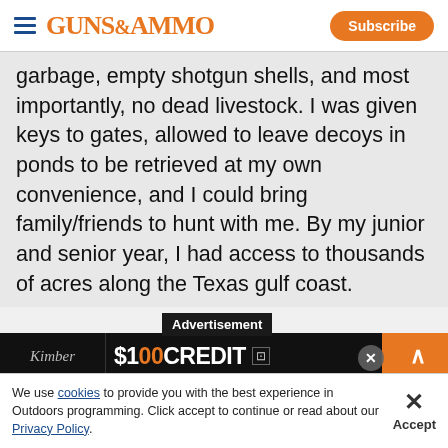GUNS&AMMO — Subscribe
garbage, empty shotgun shells, and most importantly, no dead livestock. I was given keys to gates, allowed to leave decoys in ponds to be retrieved at my own convenience, and I could bring family/friends to hunt with me. By my junior and senior year, I had access to thousands of acres along the Texas gulf coast.
[Figure (screenshot): Advertisement banner with '$100 CREDIT' text and Kimber/Mako brand logos]
Sn...
We use cookies to provide you with the best experience in Outdoors programming. Click accept to continue or read about our Privacy Policy.